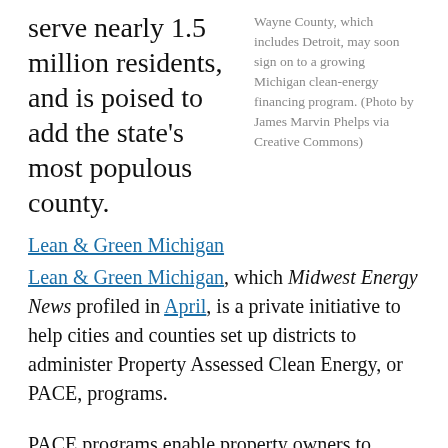serve nearly 1.5 million residents, and is poised to add the state's most populous county.
Wayne County, which includes Detroit, may soon sign on to a growing Michigan clean-energy financing program. (Photo by James Marvin Phelps via Creative Commons)
Lean & Green Michigan
Lean & Green Michigan, which Midwest Energy News profiled in April, is a private initiative to help cities and counties set up districts to administer Property Assessed Clean Energy, or PACE, programs.
PACE programs enable property owners to finance efficiency upgrades and other energy improvements through a property tax assessment — meaning the debt stays with the property